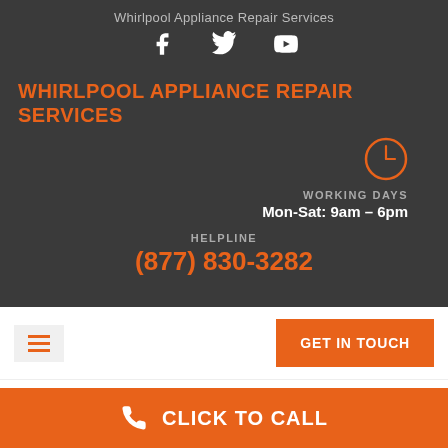Whirlpool Appliance Repair Services
WHIRLPOOL APPLIANCE REPAIR SERVICES
WORKING DAYS
Mon-Sat: 9am - 6pm
HELPLINE
(877) 830-3282
GET IN TOUCH
Tag: Washer Repair
CLICK TO CALL